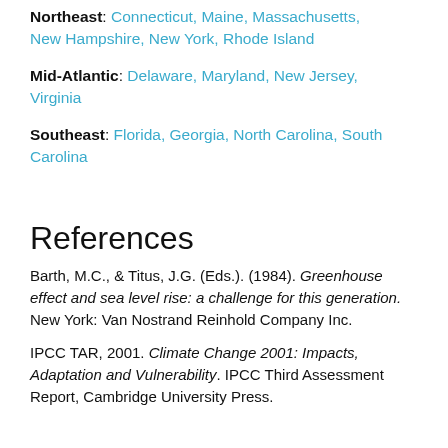Northeast: Connecticut, Maine, Massachusetts, New Hampshire, New York, Rhode Island
Mid-Atlantic: Delaware, Maryland, New Jersey, Virginia
Southeast: Florida, Georgia, North Carolina, South Carolina
References
Barth, M.C., & Titus, J.G. (Eds.). (1984). Greenhouse effect and sea level rise: a challenge for this generation. New York: Van Nostrand Reinhold Company Inc.
IPCC TAR, 2001. Climate Change 2001: Impacts, Adaptation and Vulnerability. IPCC Third Assessment Report, Cambridge University Press.